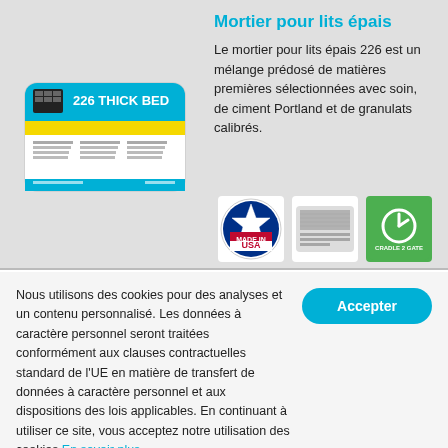[Figure (photo): 226 Thick Bed mortar product bag/package with cyan/blue, yellow, and black branding]
Mortier pour lits épais
Le mortier pour lits épais 226 est un mélange prédosé de matières premières sélectionnées avec soin, de ciment Portland et de granulats calibrés.
[Figure (logo): Made in USA badge]
[Figure (logo): Manufacturer/distributor badge with product text]
[Figure (logo): Green circular badge/icon]
Nous utilisons des cookies pour des analyses et un contenu personnalisé. Les données à caractère personnel seront traitées conformément aux clauses contractuelles standard de l'UE en matière de transfert de données à caractère personnel et aux dispositions des lois applicables. En continuant à utiliser ce site, vous acceptez notre utilisation des cookies En savoir plus